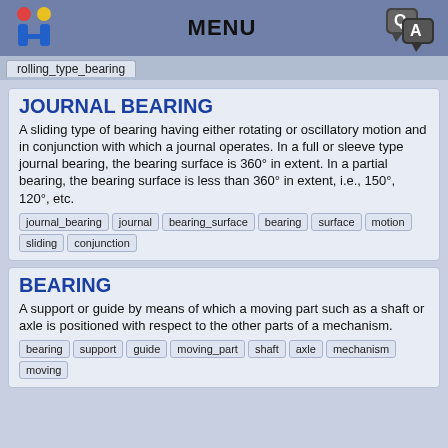MENU
rolling_type_bearing
JOURNAL BEARING
A sliding type of bearing having either rotating or oscillatory motion and in conjunction with which a journal operates. In a full or sleeve type journal bearing, the bearing surface is 360° in extent. In a partial bearing, the bearing surface is less than 360° in extent, i.e., 150°, 120°, etc.
journal_bearing | journal | bearing_surface | bearing | surface | motion | sliding | conjunction
BEARING
A support or guide by means of which a moving part such as a shaft or axle is positioned with respect to the other parts of a mechanism.
bearing | support | guide | moving_part | shaft | axle | mechanism | moving